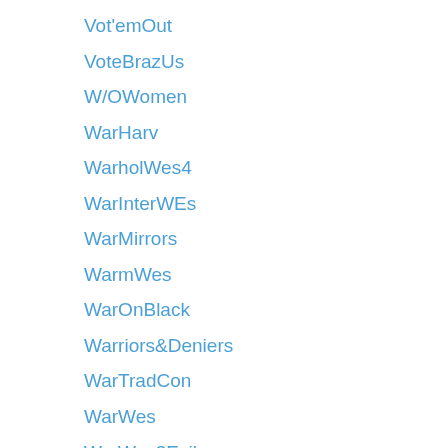Vot'emOut
VoteBrazUs
W/OWomen
WarHarv
WarholWes4
WarInterWEs
WarMirrors
WarmWes
WarOnBlack
Warriors&Deniers
WarTradCon
WarWes
WarWes3Evils
WatrWes
WCRussParty
WeathWes
WeatWes
WebAttack&Spinsters
WebWes
WeCherNK